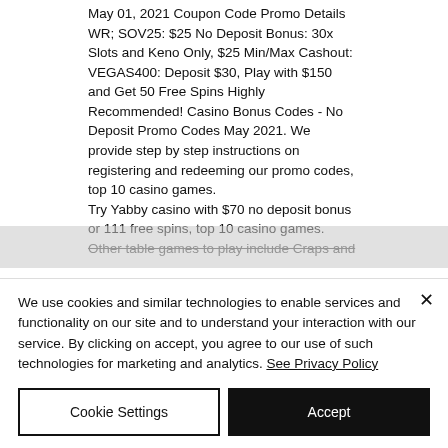May 01, 2021 Coupon Code Promo Details WR; SOV25: $25 No Deposit Bonus: 30x Slots and Keno Only, $25 Min/Max Cashout: VEGAS400: Deposit $30, Play with $150 and Get 50 Free Spins Highly Recommended! Casino Bonus Codes - No Deposit Promo Codes May 2021. We provide step by step instructions on registering and redeeming our promo codes, top 10 casino games.
Try Yabby casino with $70 no deposit bonus or 111 free spins, top 10 casino games.
Other table games to play include Craps and
We use cookies and similar technologies to enable services and functionality on our site and to understand your interaction with our service. By clicking on accept, you agree to our use of such technologies for marketing and analytics. See Privacy Policy
Cookie Settings
Accept